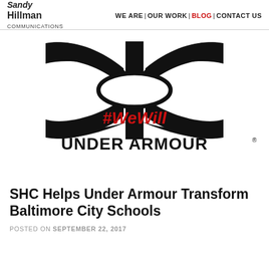Sandy Hillman Communications | WE ARE | OUR WORK | BLOG | CONTACT US
[Figure (logo): Under Armour logo with the UA shield icon in black and white, '#WeWill' text in red, and 'UNDER ARMOUR' wordmark in black below]
SHC Helps Under Armour Transform Baltimore City Schools
POSTED ON SEPTEMBER 22, 2017